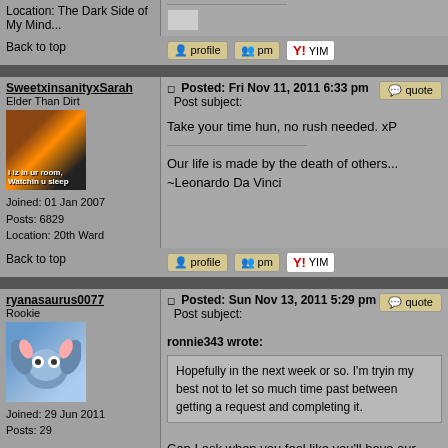Location: The Dark Side of My Mind...
[Figure (illustration): Small broken image icon]
Back to top
[Figure (infographic): Profile, PM, and YIM buttons]
SweetxinsanityxSarah
Elder Than Dirt
Joined: 01 Jan 2007
Posts: 6829
Location: 20th Ward
[Figure (photo): Avatar image with text 'i iz in ur room, Watchin u sleep']
Posted: Fri Nov 11, 2011 6:33 pm
Post subject:
Take your time hun, no rush needed. xP
Our life is made by the death of others...
~Leonardo Da Vinci
Back to top
[Figure (infographic): Profile, PM, and YIM buttons]
ryanasaurus0077
Rookie
Joined: 29 Jun 2011
Posts: 29
[Figure (illustration): Avatar of cartoon bat character]
Posted: Sun Nov 13, 2011 5:29 pm
Post subject:
ronnie343 wrote:
Hopefully in the next week or so. I'm tryin my best not to let so much time past between getting a request and completing it.
Can I ask when you feel like you'll have our requests ready for us? Thanks!
Back to top
[Figure (infographic): Profile and PM buttons]